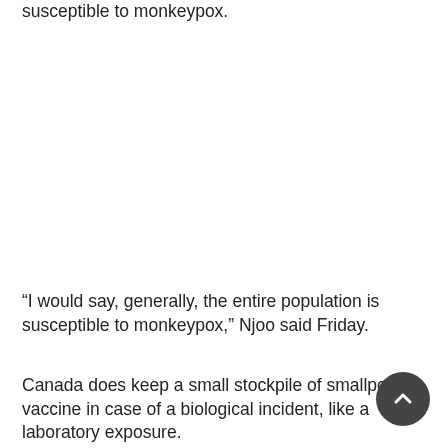susceptible to monkeypox.
“I would say, generally, the entire population is susceptible to monkeypox,” Njoo said Friday.
Canada does keep a small stockpile of smallpox vaccine in case of a biological incident, like a laboratory exposure.